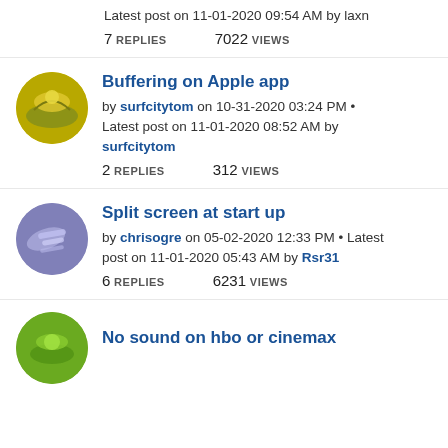Latest post on 11-01-2020 09:54 AM by laxn
7 REPLIES   7022 VIEWS
Buffering on Apple app
by surfcitytom on 10-31-2020 03:24 PM • Latest post on 11-01-2020 08:52 AM by surfcitytom
2 REPLIES   312 VIEWS
Split screen at start up
by chrisogre on 05-02-2020 12:33 PM • Latest post on 11-01-2020 05:43 AM by Rsr31
6 REPLIES   6231 VIEWS
No sound on hbo or cinemax